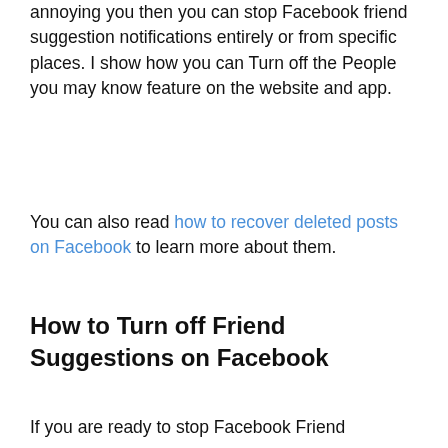annoying you then you can stop Facebook friend suggestion notifications entirely or from specific places. I show how you can Turn off the People you may know feature on the website and app.
You can also read how to recover deleted posts on Facebook to learn more about them.
How to Turn off Friend Suggestions on Facebook
If you are ready to stop Facebook Friend